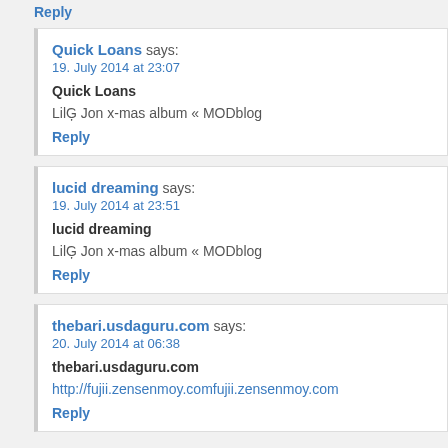Reply
Quick Loans says:
19. July 2014 at 23:07
Quick Loans
LilĢ Jon x-mas album « MODblog
Reply
lucid dreaming says:
19. July 2014 at 23:51
lucid dreaming
LilĢ Jon x-mas album « MODblog
Reply
thebari.usdaguru.com says:
20. July 2014 at 06:38
thebari.usdaguru.com
http://fujii.zensenmoy.comfujii.zensenmoy.com
Reply